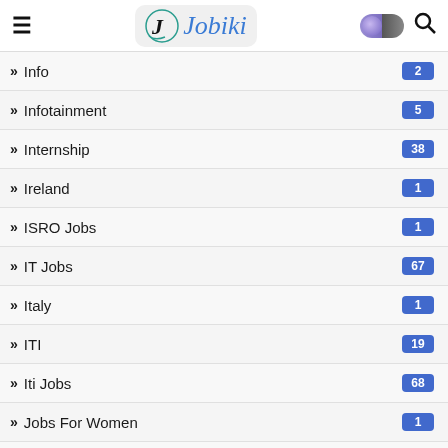Jobiki - hamburger menu, logo, dark mode toggle, search icon
Info 2
Infotainment 5
Internship 38
Ireland 1
ISRO Jobs 1
IT Jobs 67
Italy 1
ITI 19
Iti Jobs 68
Jobs For Women 1
Junior Research Fellow Job 3
Kanpur 7